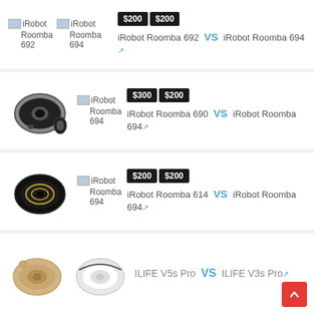[Figure (other): Row 1: Two broken image placeholders labeled iRobot Roomba 692 and iRobot Roomba 694, with price badges $200 $200 and comparison text iRobot Roomba 692 VS iRobot Roomba 694]
iRobot Roomba 692 VS iRobot Roomba 694
[Figure (photo): Row 2: Photo of iRobot Roomba 690 robot vacuum, broken image placeholder for iRobot Roomba 694, price badges $300 $200, comparison text iRobot Roomba 690 VS iRobot Roomba 694]
iRobot Roomba 690 VS iRobot Roomba 694
[Figure (photo): Row 3: Photo of dark iRobot Roomba 614 robot vacuum, broken image for iRobot Roomba 694, price badges $200 $200, comparison text iRobot Roomba 614 VS iRobot Roomba 694]
iRobot Roomba 614 VS iRobot Roomba 694
[Figure (photo): Row 4: Photos of ILIFE V5s Pro and ILIFE V3s Pro robot vacuums, comparison text ILIFE V5s Pro VS ILIFE V3s Pro]
ILIFE V5s Pro VS ILIFE V3s Pro